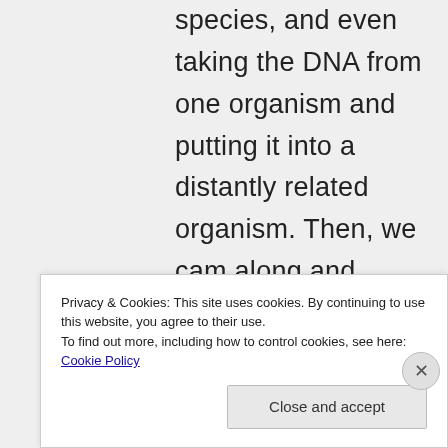species, and even taking the DNA from one organism and putting it into a distantly related organism. Then, we cam along and started doing that deliberately, but until now, our methods have been sloppy
Privacy & Cookies: This site uses cookies. By continuing to use this website, you agree to their use.
To find out more, including how to control cookies, see here: Cookie Policy